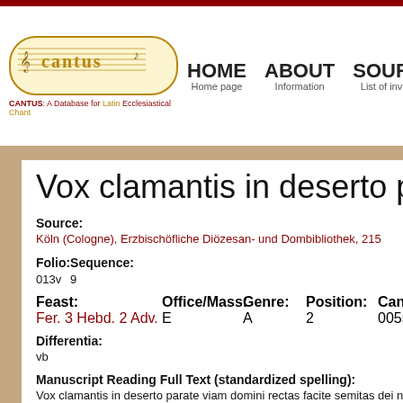CANTUS: A Database for Latin Ecclesiastical Chant — HOME, ABOUT, SOURCES navigation
Vox clamantis in deserto parata
Source:
Köln (Cologne), Erzbischöfliche Diözesan- und Dombibliothek, 215
Folio:
013v
Sequence:
9
Feast:
Fer. 3 Hebd. 2 Adv.
Office/Mass:
E
Genre:
A
Position:
2
Cantus ID:
00550
Differentia:
vb
Manuscript Reading Full Text (standardized spelling):
Vox clamantis in deserto parate viam domini rectas facite semitas dei no
Manuscript Reading Full Text (MS spelling):